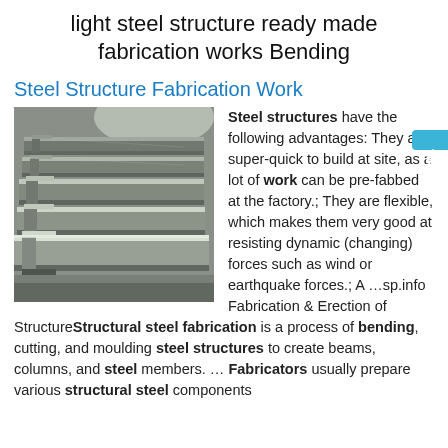light steel structure ready made fabrication works Bending
Steel Structure Fabrication Work
[Figure (photo): Stacked steel C-channel / Z-section structural members viewed from the end, showing multiple layers of galvanized or bare steel sections in a factory/warehouse setting.]
Steel structures have the following advantages: They are super-quick to build at site, as a lot of work can be pre-fabbed at the factory.; They are flexible, which makes them very good at resisting dynamic (changing) forces such as wind or earthquake forces.; A …sp.info Fabrication & Erection of StructureStructural steel fabrication is a process of bending, cutting, and moulding steel structures to create beams, columns, and steel members. … Fabricators usually prepare various structural steel components